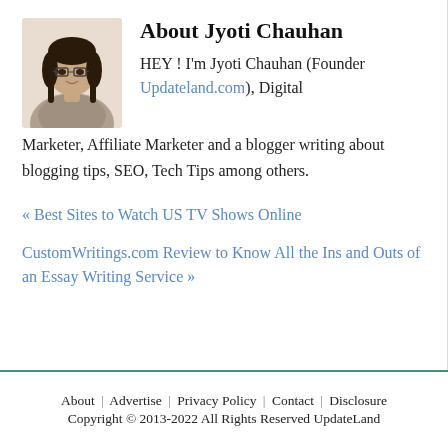[Figure (photo): Photo of Jyoti Chauhan, a young woman with glasses and dark hair, smiling]
About Jyoti Chauhan
HEY ! I'm Jyoti Chauhan (Founder Updateland.com), Digital Marketer, Affiliate Marketer and a blogger writing about blogging tips, SEO, Tech Tips among others.
« Best Sites to Watch US TV Shows Online
CustomWritings.com Review to Know All the Ins and Outs of an Essay Writing Service »
About | Advertise | Privacy Policy | Contact | Disclosure
Copyright © 2013-2022 All Rights Reserved UpdateLand